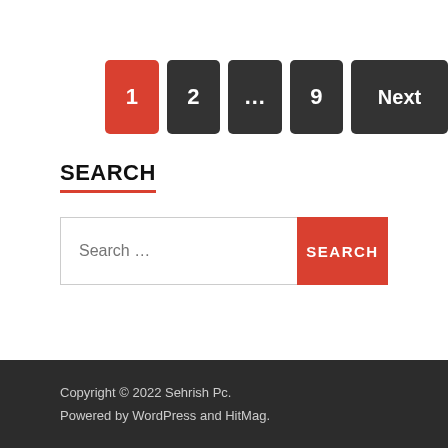[Figure (other): Pagination controls showing buttons: 1 (active/red), 2, ..., 9, Next]
SEARCH
[Figure (other): Search bar with placeholder 'Search ...' and a red SEARCH button]
Copyright © 2022 Sehrish Pc. Powered by WordPress and HitMag.